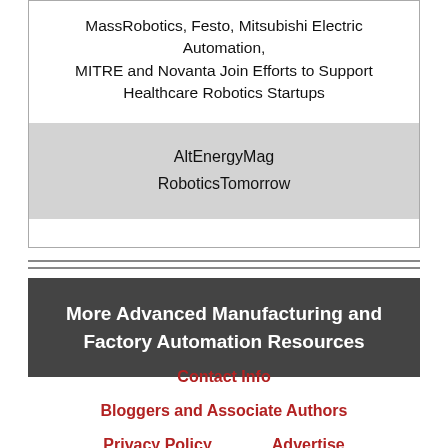MassRobotics, Festo, Mitsubishi Electric Automation, MITRE and Novanta Join Efforts to Support Healthcare Robotics Startups
AltEnergyMag
RoboticsTomorrow
More Advanced Manufacturing and Factory Automation Resources
Contact Info
Bloggers and Associate Authors
Privacy Policy
Advertise